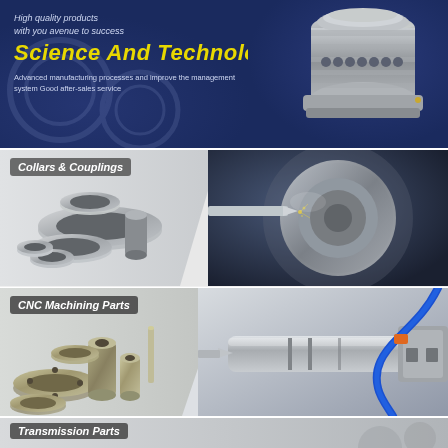[Figure (photo): Dark blue banner with industrial gear/motor component on right, italic yellow title 'Science And Technology', white italic tagline and description text on left]
[Figure (photo): Product section showing 'Collars & Couplings' label, left side shows various metal collars, rings and couplings, right side shows CNC machining process closeup]
[Figure (photo): Product section showing 'CNC Machining Parts' label, left side shows various precision machined parts, right side shows CNC lathe machining a part with blue cable]
[Figure (photo): Partial product section showing 'Transmission Parts' label at bottom of page, partially cut off]